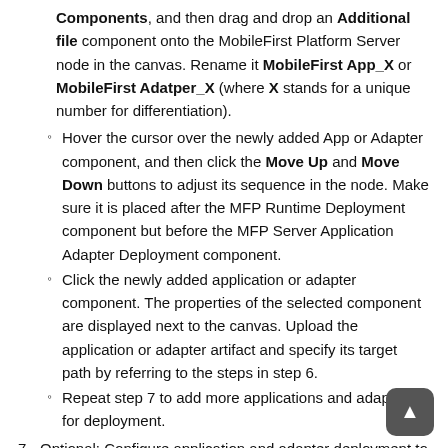Components, and then drag and drop an Additional file component onto the MobileFirst Platform Server node in the canvas. Rename it MobileFirst App_X or MobileFirst Adatper_X (where X stands for a unique number for differentiation).
Hover the cursor over the newly added App or Adapter component, and then click the Move Up and Move Down buttons to adjust its sequence in the node. Make sure it is placed after the MFP Runtime Deployment component but before the MFP Server Application Adapter Deployment component.
Click the newly added application or adapter component. The properties of the selected component are displayed next to the canvas. Upload the application or adapter artifact and specify its target path by referring to the steps in step 6.
Repeat step 7 to add more applications and adapters for deployment.
7.  Optional: Configure application and adapter deployment to